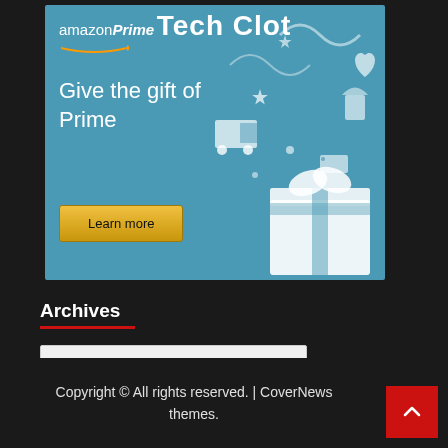Tech Clot
[Figure (illustration): Amazon Prime advertisement banner with teal background. Shows 'amazon Prime' logo, text 'Give the gift of Prime', a gold 'Learn more' button, and white illustrated icons of gifts, trucks, and festive items spilling from a box on the right side.]
Archives
Select Month
Copyright © All rights reserved. | CoverNews themes.